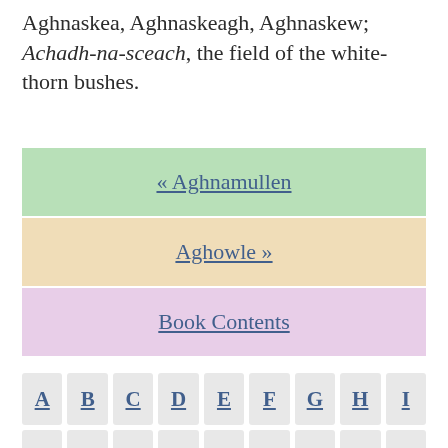Aghnaskea, Aghnaskeagh, Aghnaskew; Achadh-na-sceach, the field of the white-thorn bushes.
« Aghnamullen
Aghowle »
Book Contents
A
B
C
D
E
F
G
H
I
J
K
L
M
N
O
P
Q
R
S
T
U
V
W
Y